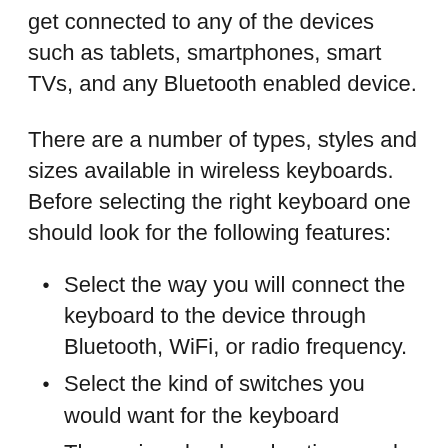get connected to any of the devices such as tablets, smartphones, smart TVs, and any Bluetooth enabled device.
There are a number of types, styles and sizes available in wireless keyboards. Before selecting the right keyboard one should look for the following features:
Select the way you will connect the keyboard to the device through Bluetooth, WiFi, or radio frequency.
Select the kind of switches you would want for the keyboard
The various keyboard options such